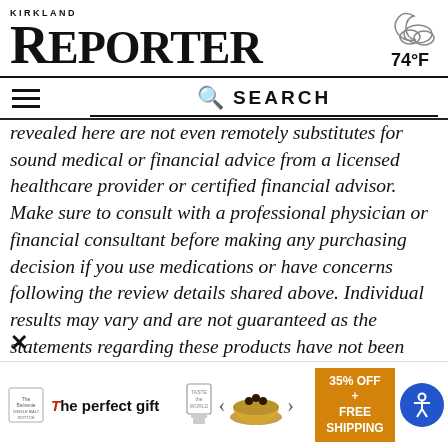Kirkland Reporter
revealed here are not even remotely substitutes for sound medical or financial advice from a licensed healthcare provider or certified financial advisor. Make sure to consult with a professional physician or financial consultant before making any purchasing decision if you use medications or have concerns following the review details shared above. Individual results may vary and are not guaranteed as the statements regarding these products have not been evaluated by the Food and Drug Administration or Health Canada. The efficacy of these products has not been confirmed by FDA, or Health Canada approved
[Figure (other): Advertisement banner for a food gift product showing '35% OFF + FREE SHIPPING' and 'The perfect gift' text with product images]